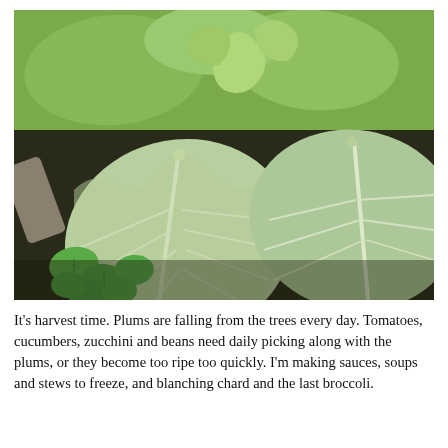[Figure (photo): Close-up photograph of large pale green cabbage or broccoli leaves with prominent white veins, surrounded by smaller bright green herb leaves (likely mint) and other leafy plants in a garden setting. A garden tool handle is visible on the left side.]
It's harvest time. Plums are falling from the trees every day. Tomatoes, cucumbers, zucchini and beans need daily picking along with the plums, or they become too ripe too quickly. I'm making sauces, soups and stews to freeze, and blanching chard and the last broccoli.